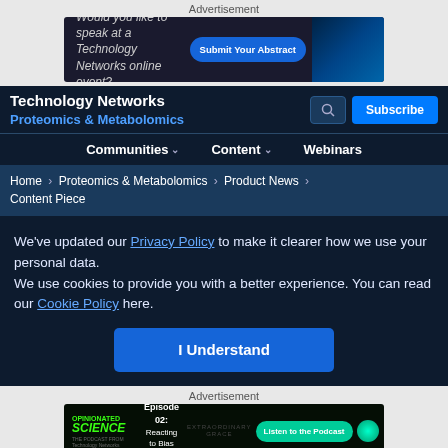Advertisement
[Figure (screenshot): Ad banner: Would you like to speak at a Technology Networks online event? Submit Your Abstract button]
Technology Networks
Proteomics & Metabolomics
Communities   Content   Webinars
Home > Proteomics & Metabolomics > Product News > Content Piece
We've updated our Privacy Policy to make it clearer how we use your personal data.
We use cookies to provide you with a better experience. You can read our Cookie Policy here.
I Understand
Advertisement
[Figure (screenshot): Ad banner: Opinionated Science podcast - Episode 02: Reacting to Bias in STEM. Listen to the Podcast button.]